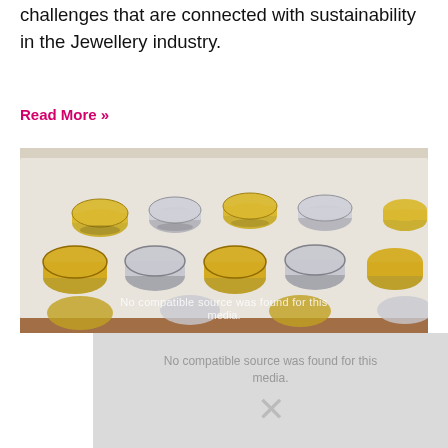challenges that are connected with sustainability in the Jewellery industry.
Read More »
[Figure (photo): A display tray showing numerous gold and silver wedding bands/rings arranged in rows on a white velvet surface.]
No compatible source was found for this media.